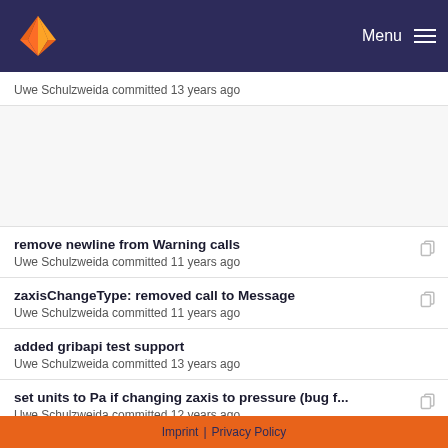GitLab — Menu
Uwe Schulzweida committed 13 years ago
remove newline from Warning calls
Uwe Schulzweida committed 11 years ago
zaxisChangeType: removed call to Message
Uwe Schulzweida committed 11 years ago
added gribapi test support
Uwe Schulzweida committed 13 years ago
set units to Pa if changing zaxis to pressure (bug f...
Uwe Schulzweida committed 12 years ago
added gribapi test support
Uwe Schulzweida committed 13 years ago
Imprint | Privacy Policy